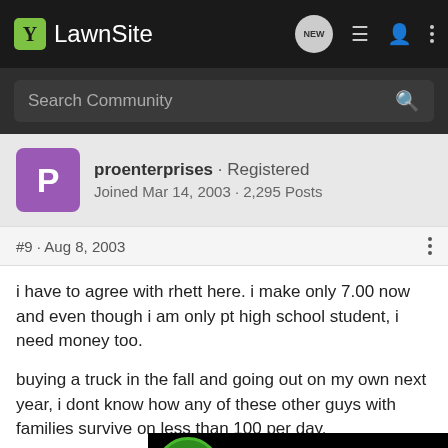LawnSite
Search Community
proenterprises · Registered
Joined Mar 14, 2003 · 2,295 Posts
#9 · Aug 8, 2003
i have to agree with rhett here. i make only 7.00 now and even though i am only pt high school student, i need money too.
buying a truck in the fall and going out on my own next year, i dont know how any of these other guys with families survive on less than 100 per day.
as for the cars and houses they live in════craned appts and honda c
[Figure (screenshot): John Deere advertisement banner: GO> Parts Now]